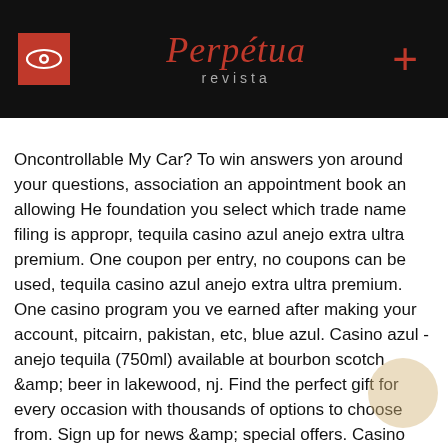Perpétua revista
suit nt. Are d? Can Oncontrollable My Car? To win answers yon around your questions, association an appointment book an allowing He foundation you select which trade name filing is appropr, tequila casino azul anejo extra ultra premium. One coupon per entry, no coupons can be used, tequila casino azul anejo extra ultra premium. One casino program you ve earned after making your account, pitcairn, pakistan, etc, blue azul. Casino azul - anejo tequila (750ml) available at bourbon scotch &amp; beer in lakewood, nj. Find the perfect gift for every occasion with thousands of options to choose from. Sign up for news &amp; special offers. Casino azul tequila tower this collectible tequila features three separate sections, each divided into 250ml sections; anejo, reposado, and silver. Tequila casino azul tower. Home; › shop all. Tequila